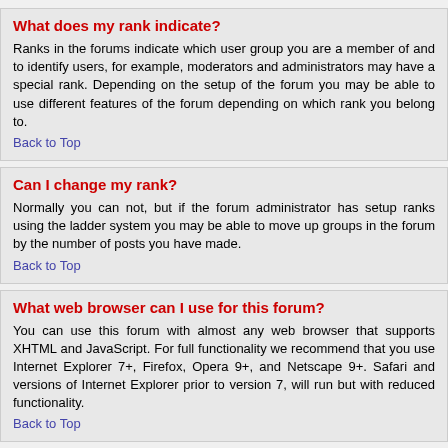What does my rank indicate?
Ranks in the forums indicate which user group you are a member of and to identify users, for example, moderators and administrators may have a special rank. Depending on the setup of the forum you may be able to use different features of the forum depending on which rank you belong to.
Back to Top
Can I change my rank?
Normally you can not, but if the forum administrator has setup ranks using the ladder system you may be able to move up groups in the forum by the number of posts you have made.
Back to Top
What web browser can I use for this forum?
You can use this forum with almost any web browser that supports XHTML and JavaScript. For full functionality we recommend that you use Internet Explorer 7+, Firefox, Opera 9+, and Netscape 9+. Safari and versions of Internet Explorer prior to version 7, will run but with reduced functionality.
Back to Top
Posting Issues
How do I post a message in the forum?